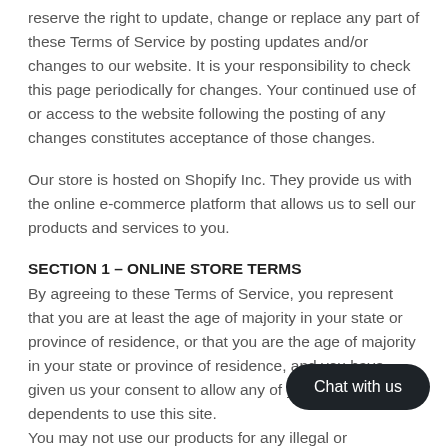reserve the right to update, change or replace any part of these Terms of Service by posting updates and/or changes to our website. It is your responsibility to check this page periodically for changes. Your continued use of or access to the website following the posting of any changes constitutes acceptance of those changes.
Our store is hosted on Shopify Inc. They provide us with the online e-commerce platform that allows us to sell our products and services to you.
SECTION 1 – ONLINE STORE TERMS
By agreeing to these Terms of Service, you represent that you are at least the age of majority in your state or province of residence, or that you are the age of majority in your state or province of residence, and you have given us your consent to allow any of your minor dependents to use this site.
You may not use our products for any illegal or